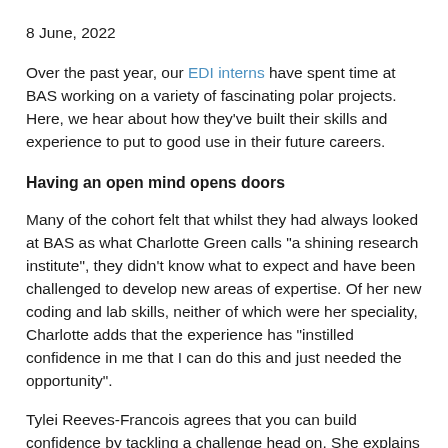8 June, 2022
Over the past year, our EDI interns have spent time at BAS working on a variety of fascinating polar projects. Here, we hear about how they've built their skills and experience to put to good use in their future careers.
Having an open mind opens doors
Many of the cohort felt that whilst they had always looked at BAS as what Charlotte Green calls “a shining research institute”, they didn’t know what to expect and have been challenged to develop new areas of expertise. Of her new coding and lab skills, neither of which were her speciality, Charlotte adds that the experience has “instilled confidence in me that I can do this and just needed the opportunity”.
Tylei Reeves-Francois agrees that you can build confidence by tackling a challenge head on. She explains that her project on the complex interaction between the wind and ice has involved experts agreeing with her which has been a nice